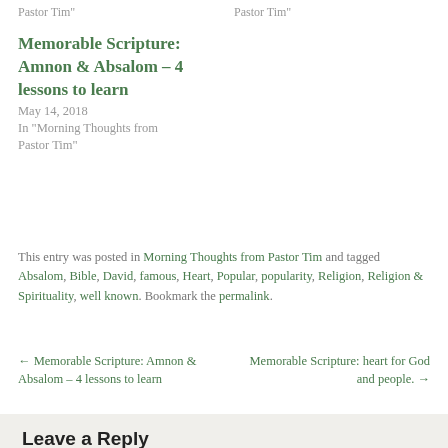Pastor Tim"
Pastor Tim"
Memorable Scripture: Amnon & Absalom – 4 lessons to learn
May 14, 2018
In "Morning Thoughts from Pastor Tim"
This entry was posted in Morning Thoughts from Pastor Tim and tagged Absalom, Bible, David, famous, Heart, Popular, popularity, Religion, Religion & Spirituality, well known. Bookmark the permalink.
← Memorable Scripture: Amnon & Absalom – 4 lessons to learn
Memorable Scripture: heart for God and people. →
Leave a Reply
Your email address will not be published. Required fields are marked *